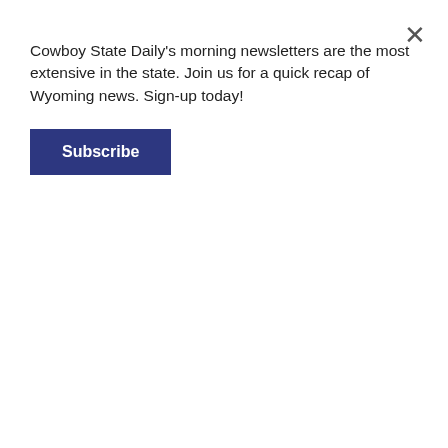Cowboy State Daily's morning newsletters are the most extensive in the state. Join us for a quick recap of Wyoming news. Sign-up today!
Subscribe
in his mind, that they intend to be part of the community. The company just celebrated its first year in the PRB in October with a company-paid dinner and stocking caps and gifts cards for all employees.
Despite the otherwise happy ending, Wallett was pleased to hear that charges may potentially be brought against the former Blackjewel CEO who had once sidled up to them as one of their own, while in his mind, lying directly to their faces.
He's happy to spread the word that the new county attorney is looking into potentially pressing criminal